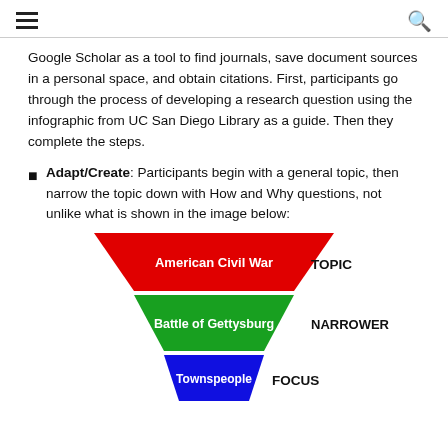≡  🔍
Google Scholar as a tool to find journals, save document sources in a personal space, and obtain citations. First, participants go through the process of developing a research question using the infographic from UC San Diego Library as a guide. Then they complete the steps.
Adapt/Create: Participants begin with a general topic, then narrow the topic down with How and Why questions, not unlike what is shown in the image below:
[Figure (infographic): Inverted triangle diagram showing topic narrowing: red top section labeled 'American Civil War' with 'TOPIC' to the right, green middle section labeled 'Battle of Gettysburg' with 'NARROWER' to the right, blue bottom section labeled 'Townspeople' with 'FOCUS' to the right.]